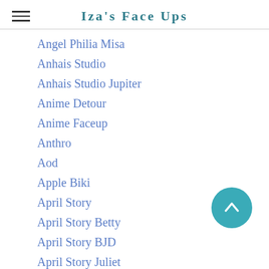Iza's Face Ups
Angel Philia Misa
Anhais Studio
Anhais Studio Jupiter
Anime Detour
Anime Faceup
Anthro
Aod
Apple Biki
April Story
April Story Betty
April Story BJD
April Story Juliet
April Story Lilian
April Story NB SD16
April Story NB-SD16
Artist Choice
Artist Doll
[Figure (other): Scroll to top button — teal circle with upward chevron arrow]